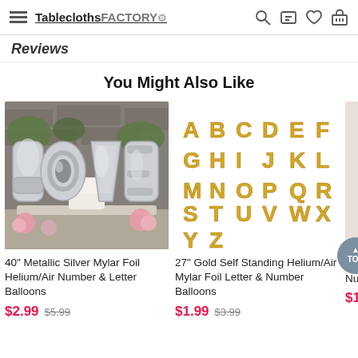TableclothsFACTORY [navigation icons: search, chat, wishlist, cart]
Reviews
You Might Also Like
[Figure (photo): Large silver metallic LOVE letter balloons on stands at an outdoor wedding dessert table with cake and pink flowers]
40" Metallic Silver Mylar Foil Helium/Air Number & Letter Balloons
$2.99  $5.99
[Figure (photo): Gold self-standing letter balloons showing full alphabet A through Z arranged in rows on white background]
27" Gold Self Standing Helium/Air Mylar Foil Letter & Number Balloons
$1.99  $3.99
$1.
Num